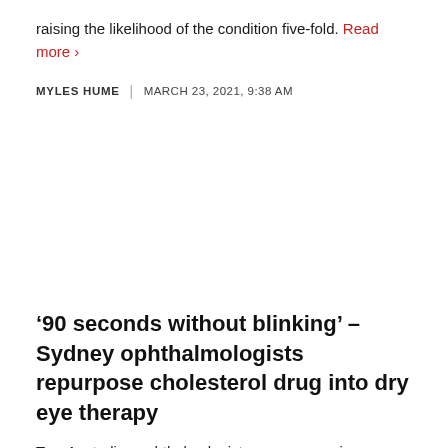raising the likelihood of the condition five-fold. Read more ›
MYLES HUME  |  MARCH 23, 2021, 9:38 AM
'90 seconds without blinking' – Sydney ophthalmologists repurpose cholesterol drug into dry eye therapy
Two Australian ophthalmologists are repurposing a common